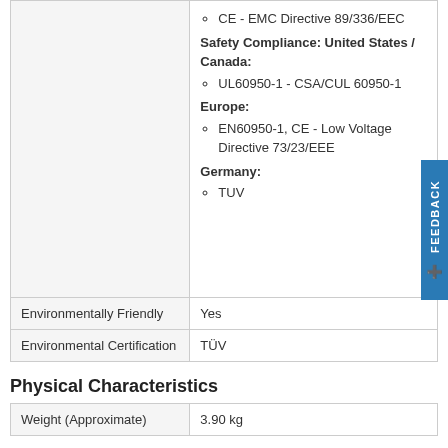|  | CE - EMC Directive 89/336/EEC
Safety Compliance: United States / Canada:
  UL60950-1 - CSA/CUL 60950-1
Europe:
  EN60950-1, CE - Low Voltage Directive 73/23/EEE
Germany:
  TUV |
| Environmentally Friendly | Yes |
| Environmental Certification | TÜV |
Physical Characteristics
| Weight (Approximate) | 3.90 kg |